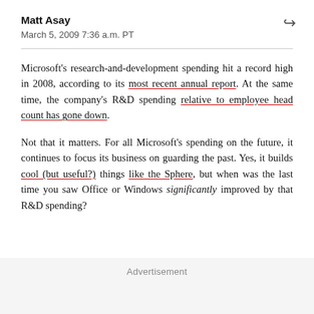Matt Asay
March 5, 2009 7:36 a.m. PT
Microsoft's research-and-development spending hit a record high in 2008, according to its most recent annual report. At the same time, the company's R&D spending relative to employee head count has gone down.
Not that it matters. For all Microsoft's spending on the future, it continues to focus its business on guarding the past. Yes, it builds cool (but useful?) things like the Sphere, but when was the last time you saw Office or Windows significantly improved by that R&D spending?
Advertisement